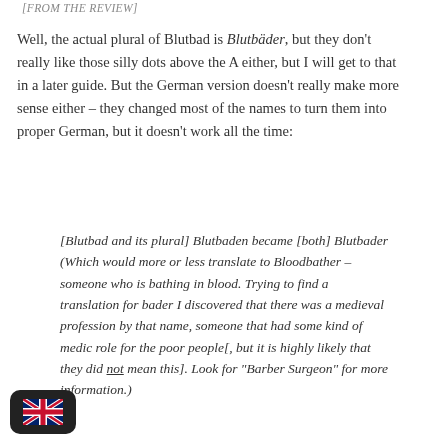[FROM THE REVIEW]
Well, the actual plural of Blutbad is Blutbäder, but they don't really like those silly dots above the A either, but I will get to that in a later guide. But the German version doesn't really make more sense either – they changed most of the names to turn them into proper German, but it doesn't work all the time:
[Blutbad and its plural] Blutbaden became [both] Blutbader (Which would more or less translate to Bloodbather – someone who is bathing in blood. Trying to find a translation for bader I discovered that there was a medieval profession by that name, someone that had some kind of medic role for the poor people[, but it is highly likely that they did not mean this]. Look for "Barber Surgeon" for more information.)